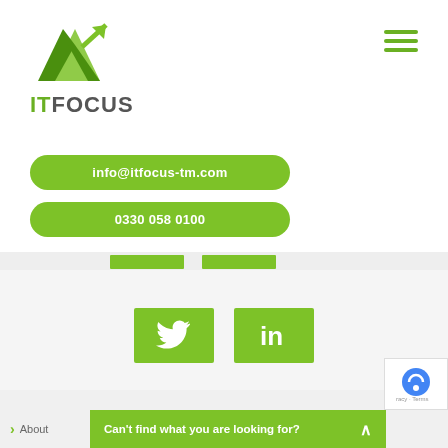[Figure (logo): IT Focus logo with green triangle/arrow graphic above text ITFOCUS]
[Figure (illustration): Hamburger menu icon (three green horizontal lines) in top right corner]
info@itfocus-tm.com
0330 058 0100
[Figure (illustration): Green Twitter social media button with white bird icon]
[Figure (illustration): Green LinkedIn social media button with white 'in' icon]
Company Info
About
Can't find what you are looking for?